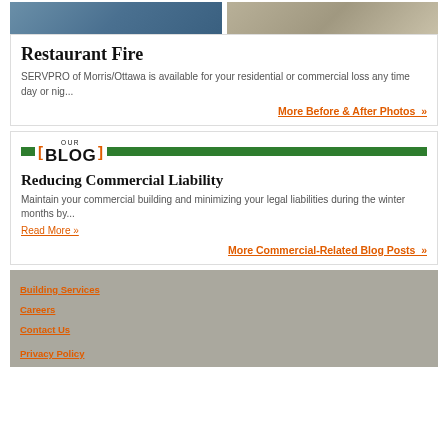[Figure (photo): Two side-by-side photos showing restaurant fire damage/restoration scenes]
Restaurant Fire
SERVPRO of Morris/Ottawa is available for your residential or commercial loss any time day or nig...
More Before & After Photos »
OUR BLOG
Reducing Commercial Liability
Maintain your commercial building and minimizing your legal liabilities during the winter months by...
Read More »
More Commercial-Related Blog Posts »
Building Services
Careers
Contact Us
Privacy Policy